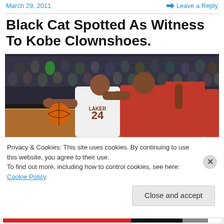March 29, 2011   Leave a Reply
Black Cat Spotted As Witness To Kobe Clownshoes.
[Figure (photo): Basketball game photo showing a Lakers player wearing #24 jersey dribbling against a Miami Heat defender, crowd in background]
Privacy & Cookies: This site uses cookies. By continuing to use this website, you agree to their use.
To find out more, including how to control cookies, see here: Cookie Policy
Close and accept